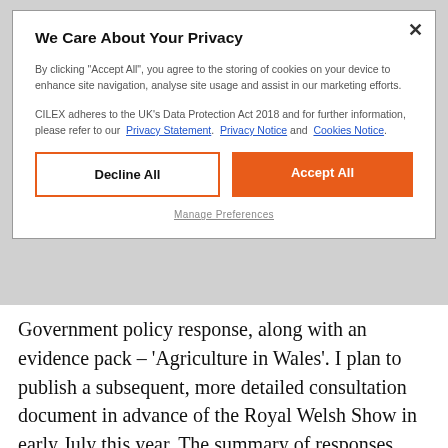We Care About Your Privacy
By clicking "Accept All", you agree to the storing of cookies on your device to enhance site navigation, analyse site usage and assist in our marketing efforts.
CILEX adheres to the UK's Data Protection Act 2018 and for further information, please refer to our  Privacy Statement.  Privacy Notice and  Cookies Notice.
Decline All   Accept All
Manage Preferences
Government policy response, along with an evidence pack – 'Agriculture in Wales'. I plan to publish a subsequent, more detailed consultation document in advance of the Royal Welsh Show in early July this year. The summary of responses  available at: https://gov.wales/support-welsh-